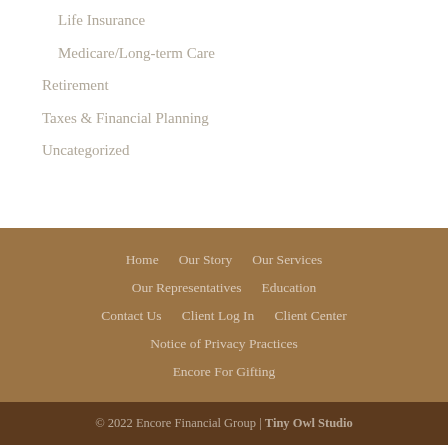Life Insurance
Medicare/Long-term Care
Retirement
Taxes & Financial Planning
Uncategorized
Home  Our Story  Our Services  Our Representatives  Education  Contact Us  Client Log In  Client Center  Notice of Privacy Practices  Encore For Gifting
© 2022 Encore Financial Group | Tiny Owl Studio